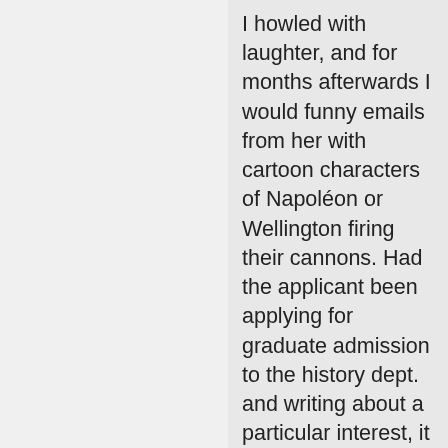I howled with laughter, and for months afterwards I would funny emails from her with cartoon characters of Napoléon or Wellington firing their cannons. Had the applicant been applying for graduate admission to the history dept. and writing about a particular interest, it would have been fine, but in public health, not so much. Paula sat on admissions in her other dept., and my applicant was used as a bad example when that
[Figure (screenshot): Infolinks ad banner label in dark navy with italic text 'infolinks']
[Figure (screenshot): Belk advertisement banner: 'STEP OUT IN STYLE' header, BELK brand name, tagline 'Step out in style.', URL www.belk.com, two product images, blue circular arrow button, close X button]